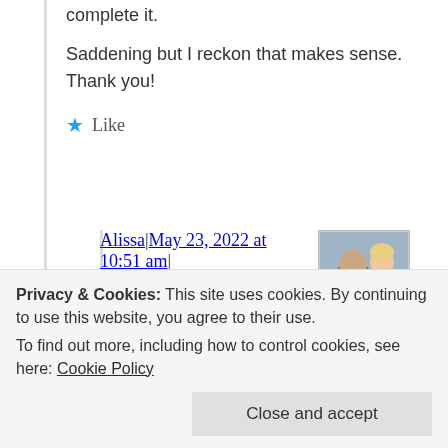complete it.
Saddening but I reckon that makes sense. Thank you!
Like
Alissa | May 23, 2022 at 10:51 am | Reply
[Figure (photo): Avatar photo of Alissa showing a woman with a child]
Yea, no one really knew how it would
Privacy & Cookies: This site uses cookies. By continuing to use this website, you agree to their use.
To find out more, including how to control cookies, see here: Cookie Policy
Close and accept